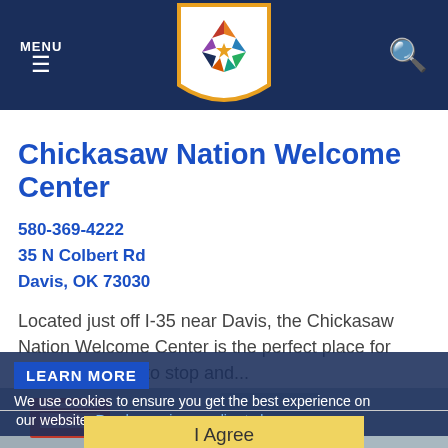MENU | Chickasaw Nation logo | Search
Chickasaw Nation Welcome Center
580-369-4222
35 N Colbert Rd
Davis, OK 73030
Located just off I-35 near Davis, the Chickasaw Nation Welcome Center is the perfect place for weary travelers to stop and...
LEARN MORE  We use cookies to ensure you get the best experience on our website. Read our privacy policy to learn more.
I Agree
[Figure (photo): Bottom strip photo showing Chickasaw Nation Welcome Center exterior]